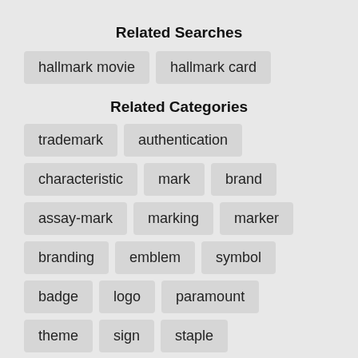Related Searches
hallmark movie
hallmark card
Related Categories
trademark
authentication
characteristic
mark
brand
assay-mark
marking
marker
branding
emblem
symbol
badge
logo
paramount
theme
sign
staple